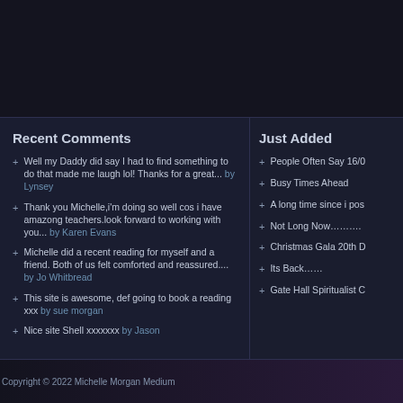Recent Comments
Well my Daddy did say I had to find something to do that made me laugh lol! Thanks for a great... by Lynsey
Thank you Michelle,i'm doing so well cos i have amazong teachers.look forward to working with you... by Karen Evans
Michelle did a recent reading for myself and a friend. Both of us felt comforted and reassured.... by Jo Whitbread
This site is awesome, def going to book a reading xxx by sue morgan
Nice site Shell xxxxxxx by Jason
Just Added
People Often Say 16/0
Busy Times Ahead
A long time since i pos
Not Long Now………..
Christmas Gala 20th D
Its Back……
Gate Hall Spiritualist C
Copyright © 2022 Michelle Morgan Medium